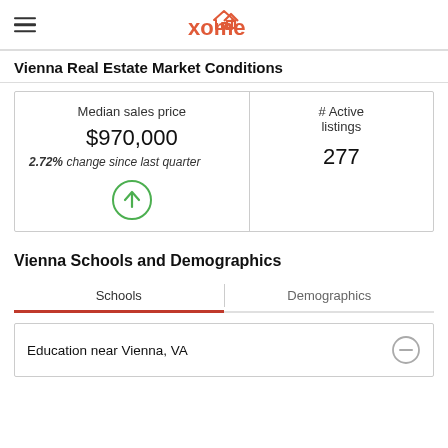xome
Vienna Real Estate Market Conditions
| Median sales price | # Active listings |
| --- | --- |
| $970,000
2.72% change since last quarter | 277 |
Vienna Schools and Demographics
Schools | Demographics
Education near Vienna, VA